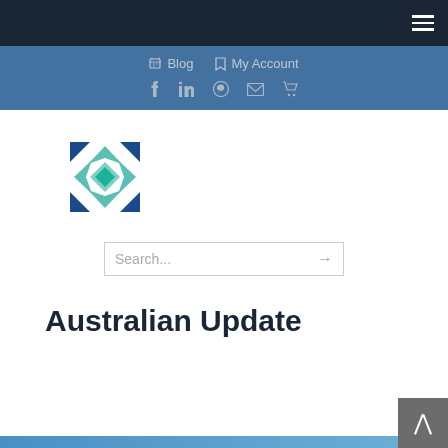☰ (hamburger menu icon)
✎ Blog  ⚑ My Account
f  in  ⊕  ✉  🛒 (social icons: Facebook, LinkedIn, Pinterest, Email, Cart)
[Figure (logo): Geometric quilt-block logo with dark blue corner triangles and teal/green diamond shapes in center]
Search...
Australian Update
[Figure (photo): Partial blue image visible at very bottom of page]